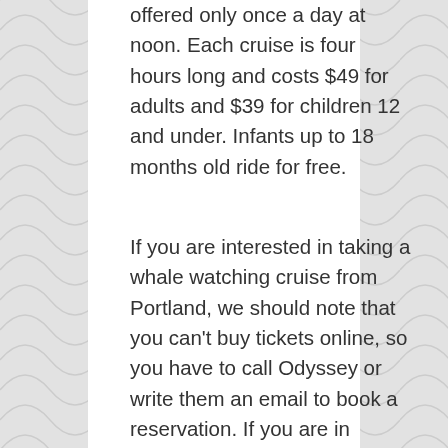offered only once a day at noon. Each cruise is four hours long and costs $49 for adults and $39 for children 12 and under. Infants up to 18 months old ride for free.
If you are interested in taking a whale watching cruise from Portland, we should note that you can't buy tickets online, so you have to call Odyssey or write them an email to book a reservation. If you are in Maine, but not in Portland, check out our more general article on whale watching in Maine to see where else you can whale watch in the state. If you found this page by looking for whale watching in Oregon, where the other, larger Portland can be found, you can read our article about whale watching on Oregon.